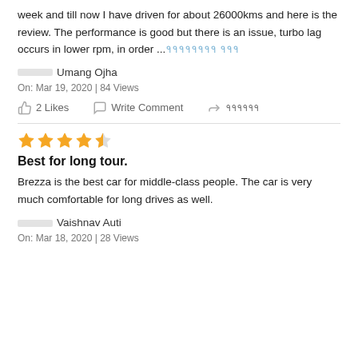week and till now I have driven for about 26000kms and here is the review. The performance is good but there is an issue, turbo lag occurs in lower rpm, in order ... [read more in Hindi]
Umang Ojha
On: Mar 19, 2020 | 84 Views
2 Likes   Write Comment   [share in Hindi]
[Figure (other): 4.5 star rating shown as 4 full orange stars and 1 half orange star]
Best for long tour.
Brezza is the best car for middle-class people. The car is very much comfortable for long drives as well.
Vaishnav Auti
On: Mar 18, 2020 | 28 Views